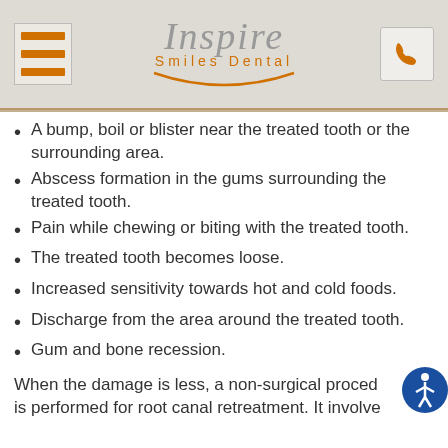[Figure (logo): Inspire Smiles Dental logo with hamburger menu on left and phone icon on right, on a grey background]
A bump, boil or blister near the treated tooth or the surrounding area.
Abscess formation in the gums surrounding the treated tooth.
Pain while chewing or biting with the treated tooth.
The treated tooth becomes loose.
Increased sensitivity towards hot and cold foods.
Discharge from the area around the treated tooth.
Gum and bone recession.
When the damage is less, a non-surgical procedure is performed for root canal retreatment. It involves